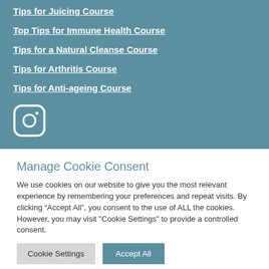Tips for Juicing Course
Top Tips for Immune Health Course
Tips for a Natural Cleanse Course
Tips for Arthritis Course
Tips for Anti-ageing Course
[Figure (logo): Instagram icon - white rounded square with camera outline]
Manage Cookie Consent
We use cookies on our website to give you the most relevant experience by remembering your preferences and repeat visits. By clicking “Accept All”, you consent to the use of ALL the cookies. However, you may visit "Cookie Settings" to provide a controlled consent.